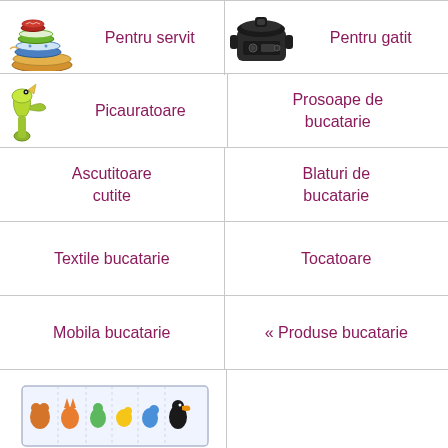[Figure (photo): Stack of colorful patterned plates and bowls]
Pentru servit
[Figure (photo): Black electric slow cooker / cooking pot]
Pentru gatit
[Figure (photo): Yellow-green wine bottle opener / pourer]
Picauratoare
Prosoape de bucatarie
Ascutitoare cutite
Blaturi de bucatarie
Textile bucatarie
Tocatoare
Mobila bucatarie
« Produse bucatarie
[Figure (illustration): Colorful animals puzzle / banner illustration (row 6 left)]